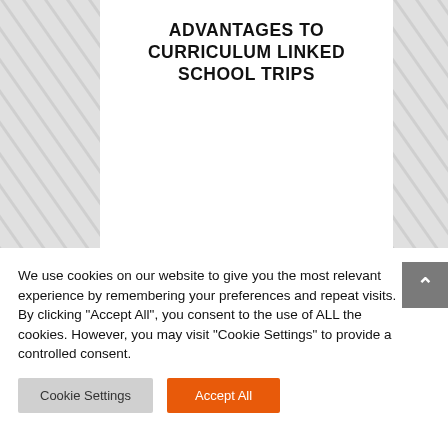ADVANTAGES TO CURRICULUM LINKED SCHOOL TRIPS
We use cookies on our website to give you the most relevant experience by remembering your preferences and repeat visits. By clicking "Accept All", you consent to the use of ALL the cookies. However, you may visit "Cookie Settings" to provide a controlled consent.